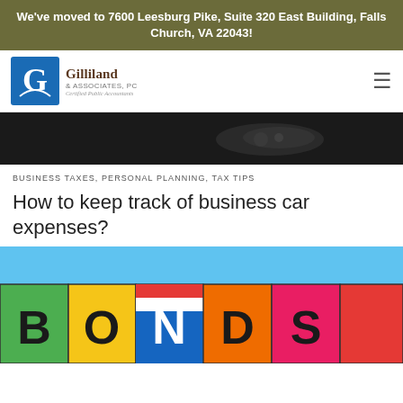We've moved to 7600 Leesburg Pike, Suite 320 East Building, Falls Church, VA 22043!
[Figure (logo): Gilliland & Associates, PC Certified Public Accountants logo with stylized G icon in blue square]
[Figure (photo): Dark close-up photo of car keys against dark background]
BUSINESS TAXES, PERSONAL PLANNING, TAX TIPS
How to keep track of business car expenses?
[Figure (photo): Colorful alphabet building blocks spelling BONDS on a blue background]